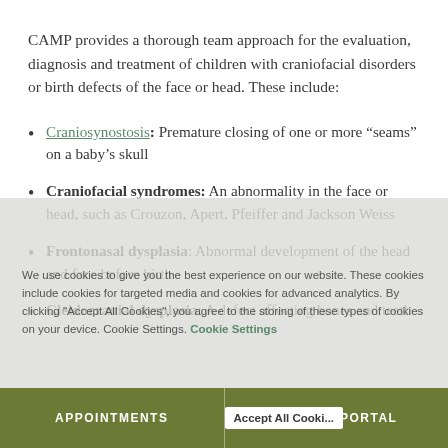CAMP provides a thorough team approach for the evaluation, diagnosis and treatment of children with craniofacial disorders or birth defects of the face or head. These include:
Craniosynostosis: Premature closing of one or more “seams” on a baby’s skull
Craniofacial syndromes: An abnormality in the face or head, such as Crouzon, Apert, Pfeiffer and Jackson Weiss
Frontonasal dysplasia: Abnormal development of the head and face before birth
Cleidocranial dysplasia: A defect affecting bones and teeth
APPOINTMENTS   PATIENT PORTAL